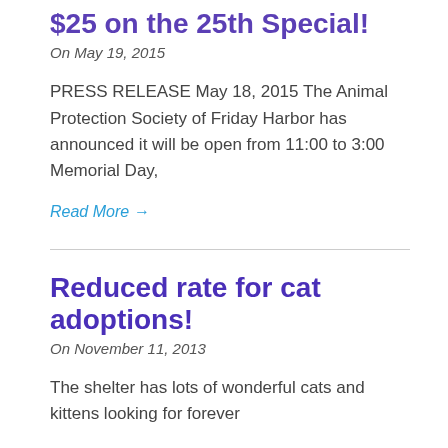$25 on the 25th Special!
On May 19, 2015
PRESS RELEASE May 18, 2015 The Animal Protection Society of Friday Harbor has announced it will be open from 11:00 to 3:00 Memorial Day,
Read More →
Reduced rate for cat adoptions!
On November 11, 2013
The shelter has lots of wonderful cats and kittens looking for forever